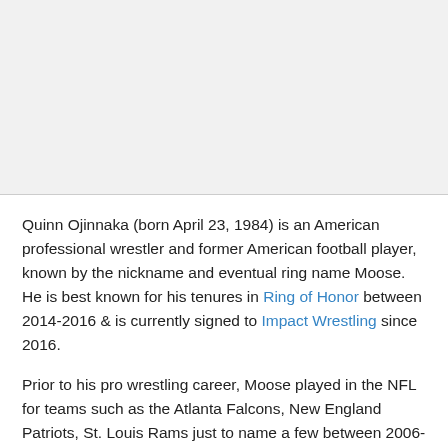[Figure (other): Large image placeholder area (light grey background), likely a photo of Quinn Ojinnaka/Moose]
Quinn Ojinnaka (born April 23, 1984) is an American professional wrestler and former American football player, known by the nickname and eventual ring name Moose. He is best known for his tenures in Ring of Honor between 2014-2016 & is currently signed to Impact Wrestling since 2016.
Prior to his pro wrestling career, Moose played in the NFL for teams such as the Atlanta Falcons, New England Patriots, St. Louis Rams just to name a few between 2006-2012.